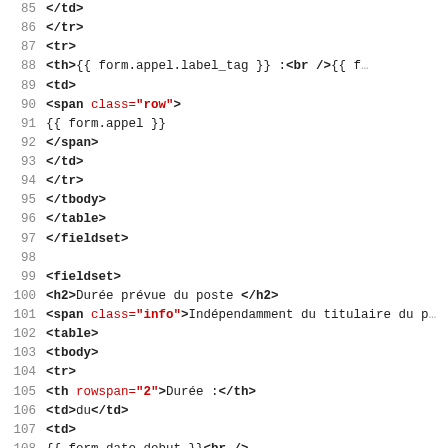Code snippet lines 85-116 showing HTML template code with fieldset, table, form fields for date range (date_debut, date_fin), with French labels and Django/Jinja2 template syntax.